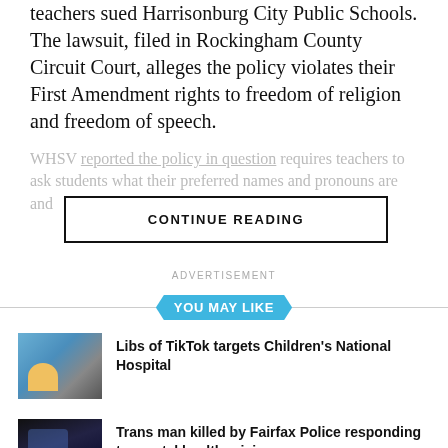teachers sued Harrisonburg City Public Schools. The lawsuit, filed in Rockingham County Circuit Court, alleges the policy violates their First Amendment rights to freedom of religion and freedom of speech.
WHSV reported the policy in question requires teachers to ask students what their preferred names and pronouns are and...
CONTINUE READING
ADVERTISEMENT
YOU MAY LIKE
Libs of TikTok targets Children's National Hospital
Trans man killed by Fairfax Police responding to mental health crisis